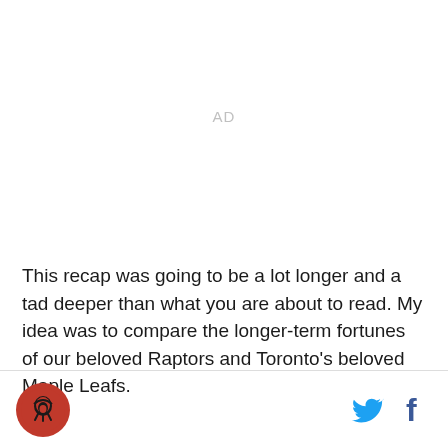AD
This recap was going to be a lot longer and a tad deeper than what you are about to read. My idea was to compare the longer-term fortunes of our beloved Raptors and Toronto's beloved Maple Leafs.
Logo and social icons (Twitter, Facebook)